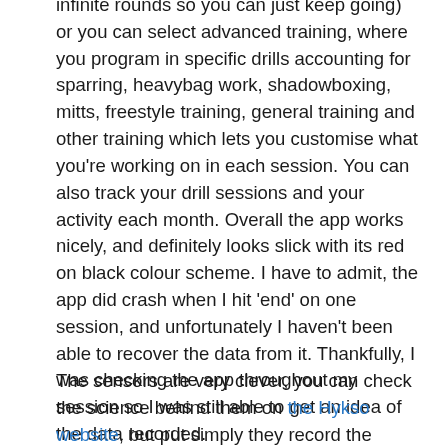infinite rounds so you can just keep going) or you can select advanced training, where you program in specific drills accounting for sparring, heavybag work, shadowboxing, mitts, freestyle training, general training and other training which lets you customise what you're working on in each session. You can also track your drill sessions and your activity each month. Overall the app works nicely, and definitely looks slick with its red on black colour scheme. I have to admit, the app did crash when I hit 'end' on one session, and unfortunately I haven't been able to recover the data from it. Thankfully, I was checking the app throughout my session so I was still able to get an idea of the data recorded.
The sensors are very clever, you can check the science behind them on the Hykso website, but put simply they record the movement of your hands, while ignoring all the movements that aren't punches